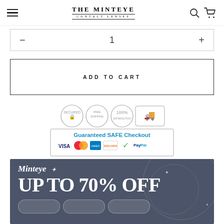THE MINTEYE CONTACT LENSES
- 1 +
ADD TO CART
[Figure (infographic): Guaranteed SAFE Checkout badge with trust icons (padlock, free shipping, 100% guarantee, delivery truck) and payment method logos (VISA, Mastercard, American Express, Discover, secure badge, checkmark, PayPal)]
[Figure (infographic): Minteye promotional banner with dark grey/blue background showing 'Minteye UP TO 70% OFF' text in white serif font with decorative sparkle elements and three rounded rectangle placeholder boxes at the bottom]